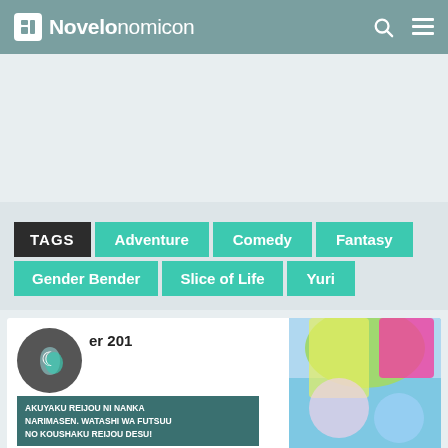Novelonomicon
TAGS Adventure Comedy Fantasy Gender Bender Slice of Life Yuri
Chapter 201
AKUYAKU REIJOU NI NANKA NARIMASEN. WATASHI WA FUTSUU NO KOUSHAKU REIJOU DESU!
July 22, 2022